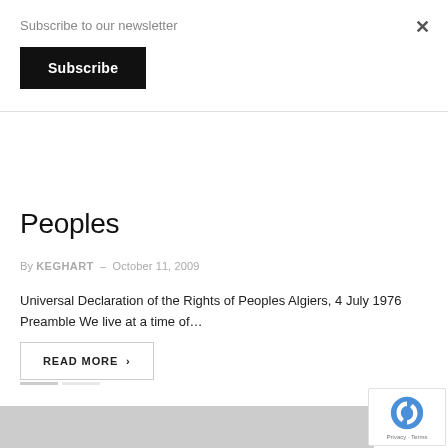Subscribe to our newsletter
Subscribe
Peoples
By KEGHART — October 11, 2009
Universal Declaration of the Rights of Peoples Algiers, 4 July 1976 Preamble We live at a time of…
READ MORE >
[Figure (other): Gray footer bar and reCAPTCHA badge with Privacy · Terms text]